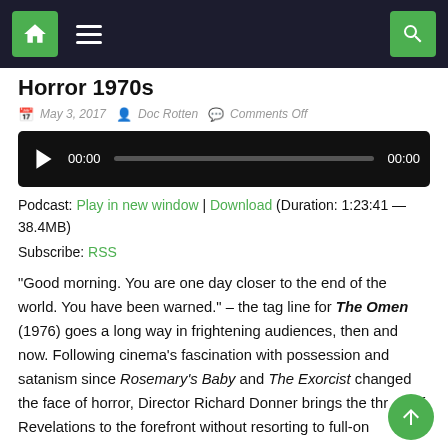Navigation bar with home icon, menu, and search
Horror 1970s
May 3, 2017  Doc Rotten  Comments Off
[Figure (other): Audio player with play button, time 00:00, progress bar, and end time 00:00]
Podcast: Play in new window | Download (Duration: 1:23:41 — 38.4MB)
Subscribe: RSS
“Good morning. You are one day closer to the end of the world. You have been warned.” – the tag line for The Omen (1976) goes a long way in frightening audiences, then and now. Following cinema’s fascination with possession and satanism since Rosemary’s Baby and The Exorcist changed the face of horror, Director Richard Donner brings the threat of Revelations to the forefront without resorting to full-on